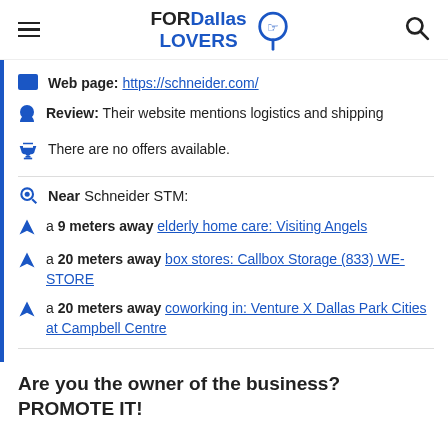FORDallas LOVERS
Web page: https://schneider.com/
Review: Their website mentions logistics and shipping
There are no offers available.
Near Schneider STM:
a 9 meters away elderly home care: Visiting Angels
a 20 meters away box stores: Callbox Storage (833) WE-STORE
a 20 meters away coworking in: Venture X Dallas Park Cities at Campbell Centre
Are you the owner of the business? PROMOTE IT!